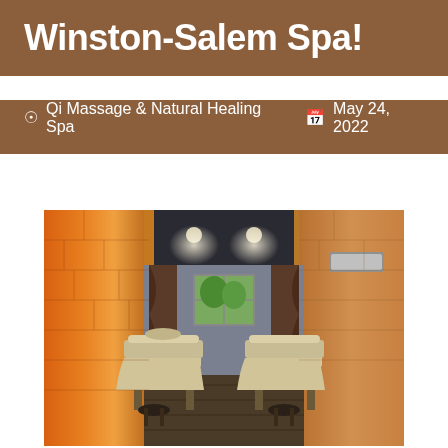Winston-Salem Spa!
Qi Massage & Natural Healing Spa   May 24, 2022
[Figure (photo): Interior of a spa room with two massage tables draped in white sheets, illuminated Himalayan salt brick walls on both sides casting warm orange glow, dark curtains framing a window with garden view, dark wood-style flooring, and recessed ceiling lights.]